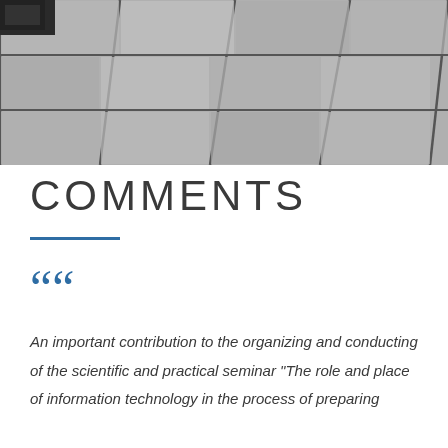[Figure (photo): Aerial or close-up view of large grey concrete/stone floor tiles with dark grout lines and a partial view of dark equipment or furniture at the top-left corner]
COMMENTS
An important contribution to the organizing and conducting of the scientific and practical seminar "The role and place of information technology in the process of preparing